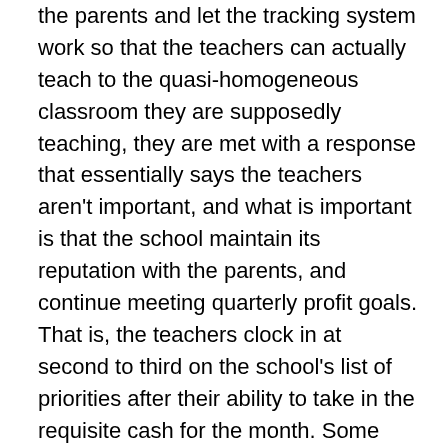the parents and let the tracking system work so that the teachers can actually teach to the quasi-homogeneous classroom they are supposedly teaching, they are met with a response that essentially says the teachers aren't important, and what is important is that the school maintain its reputation with the parents, and continue meeting quarterly profit goals. That is, the teachers clock in at second to third on the school's list of priorities after their ability to take in the requisite cash for the month. Some people say there is no such thing as non-profit education, just as some people say there is no such thing as a non-profit organization in a market-driven economy. But the difference between non-profit and “business” education is clear after working for the latter, and being educated by the former. The latter is driven by profit first, which often means following the cheaper policy or the one that is better able produce tangible, repeatable results of product reliability. Non-profit education values the contribution teachers make to the organization, and